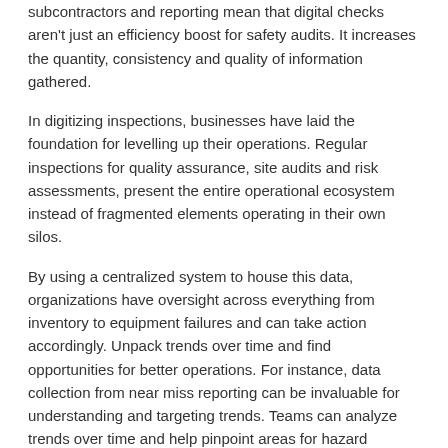subcontractors and reporting mean that digital checks aren't just an efficiency boost for safety audits. It increases the quantity, consistency and quality of information gathered.
In digitizing inspections, businesses have laid the foundation for levelling up their operations. Regular inspections for quality assurance, site audits and risk assessments, present the entire operational ecosystem instead of fragmented elements operating in their own silos.
By using a centralized system to house this data, organizations have oversight across everything from inventory to equipment failures and can take action accordingly. Unpack trends over time and find opportunities for better operations. For instance, data collection from near miss reporting can be invaluable for understanding and targeting trends. Teams can analyze trends over time and help pinpoint areas for hazard reductions and other improvements.
Build a culture of speaking out
It's the people on the frontline in every industry who have the ability to own safety practices from the ground up. A safer worksite is a better worksite, and it requires everyone's help to get there.